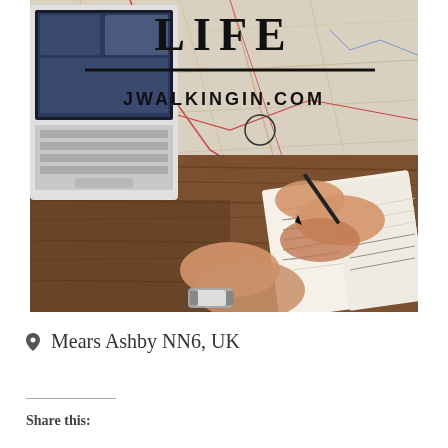[Figure (photo): A photo showing a person writing in a notebook on a wooden desk with a map spread out and a laptop to the left. Overlaid text reads 'LIFE' and 'JWALKINGIN.COM' with a horizontal divider line.]
Mears Ashby NN6, UK
Share this: